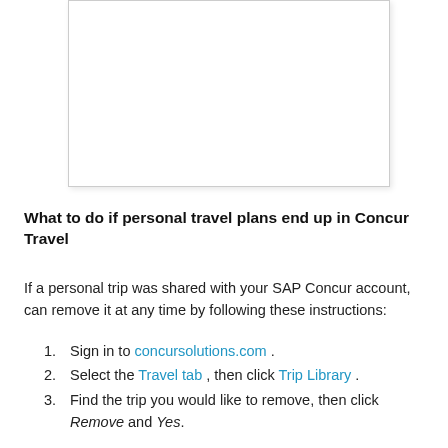[Figure (screenshot): Screenshot placeholder showing a white box with border, representing a cropped screenshot of the Concur Travel interface.]
What to do if personal travel plans end up in Concur Travel
If a personal trip was shared with your SAP Concur account, can remove it at any time by following these instructions:
Sign in to concursolutions.com .
Select the Travel tab , then click Trip Library .
Find the trip you would like to remove, then click Remove and Yes.